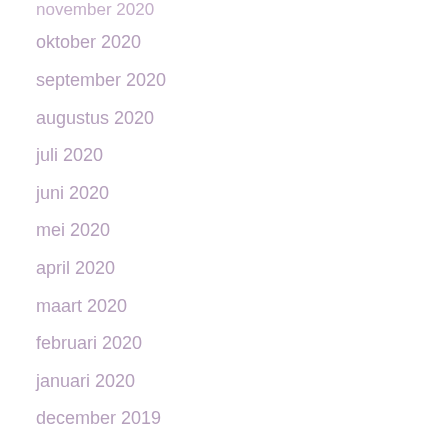november 2020
oktober 2020
september 2020
augustus 2020
juli 2020
juni 2020
mei 2020
april 2020
maart 2020
februari 2020
januari 2020
december 2019
november 2019
oktober 2019